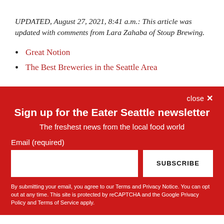UPDATED, August 27, 2021, 8:41 a.m.: This article was updated with comments from Lara Zahaba of Stoup Brewing.
Great Notion
The Best Breweries in the Seattle Area
close ×
Sign up for the Eater Seattle newsletter
The freshest news from the local food world
Email (required)
SUBSCRIBE
By submitting your email, you agree to our Terms and Privacy Notice. You can opt out at any time. This site is protected by reCAPTCHA and the Google Privacy Policy and Terms of Service apply.